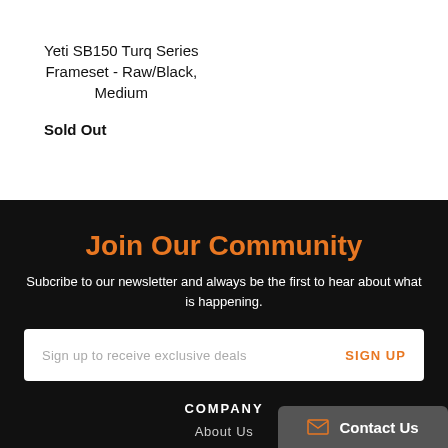Yeti SB150 Turq Series Frameset - Raw/Black, Medium
Sold Out
Join Our Community
Subcribe to our newsletter and always be the first to hear about what is happening.
Sign up to receive exclusive deals
SIGN UP
COMPANY
About Us
Contact Us